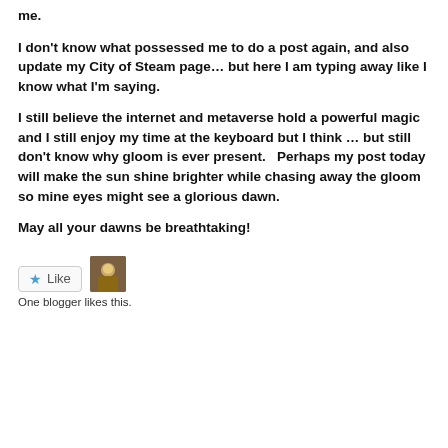me.
I don't know what possessed me to do a post again, and also update my City of Steam page… but here I am typing away like I know what I'm saying.
I still believe the internet and metaverse hold a powerful magic and I still enjoy my time at the keyboard but I think … but still don't know why gloom is ever present.   Perhaps my post today will make the sun shine brighter while chasing away the gloom so mine eyes might see a glorious dawn.
May all your dawns be breathtaking!
[Figure (other): Like button with star icon and a small avatar thumbnail of a blogger]
One blogger likes this.